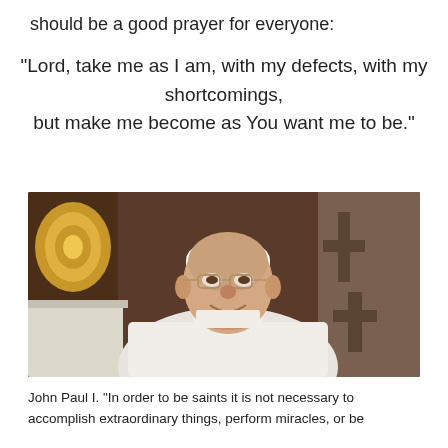should be a good prayer for everyone:
“Lord, take me as I am, with my defects, with my shortcomings, but make me become as You want me to be.”
[Figure (photo): Black and white / color photo of Pope John Paul I wearing white papal vestments and glasses, smiling, with ornate golden decorations and stone architecture in the background.]
John Paul I. “In order to be saints it is not necessary to accomplish extraordinary things, perform miracles, or be